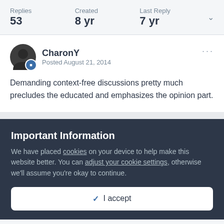Replies 53  Created 8 yr  Last Reply 7 yr
CharonY
Posted August 21, 2014
Demanding context-free discussions pretty much precludes the educated and emphasizes the opinion part.
Important Information
We have placed cookies on your device to help make this website better. You can adjust your cookie settings, otherwise we'll assume you're okay to continue.
✓ I accept